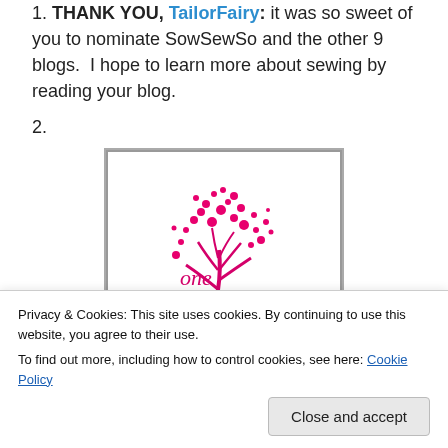1. THANK YOU, TailorFairy: it was so sweet of you to nominate SowSewSo and the other 9 blogs.  I hope to learn more about sewing by reading your blog.
2.
[Figure (illustration): One Lovely Blog Award logo: pink tree with heart-shaped leaves, pink banner with 'Lovely Blog' in script lettering, and text 'AWARD' below in gray capital letters, on a white background with a gray border.]
Privacy & Cookies: This site uses cookies. By continuing to use this website, you agree to their use.
To find out more, including how to control cookies, see here: Cookie Policy
Close and accept